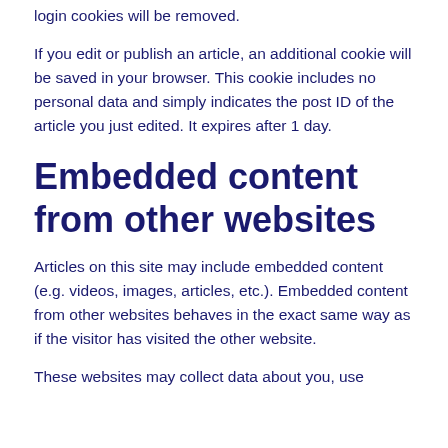login cookies will be removed.
If you edit or publish an article, an additional cookie will be saved in your browser. This cookie includes no personal data and simply indicates the post ID of the article you just edited. It expires after 1 day.
Embedded content from other websites
Articles on this site may include embedded content (e.g. videos, images, articles, etc.). Embedded content from other websites behaves in the exact same way as if the visitor has visited the other website.
These websites may collect data about you, use